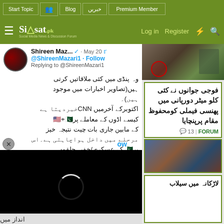Start Topic | Blog | خبریں | Premium Member
[Figure (screenshot): Siasat.pk website header with logo, Log in, Register, and icon buttons on olive green background]
[Figure (screenshot): Tweet by @ShireenMazari1 dated May 20, with Urdu text and embedded video player showing loading spinner]
[Figure (photo): Right sidebar top image showing military/outdoors scene]
فوجی جوانوں نے کئی کلو میٹر دورپانی میں پھنسی فیملی کومحفوظ مقام پرپنچایا
13 | FORUM
[Figure (photo): Right sidebar bottom image showing group of people]
لاڑکانہ میں سیلاب